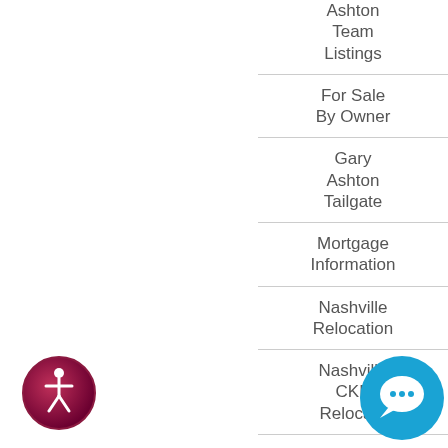Ashton Team Listings
For Sale By Owner
Gary Ashton Tailgate
Mortgage Information
Nashville Relocation
Nashville CKE Reloca...
Tennessee
[Figure (logo): Accessibility icon — circular badge with person/wheelchair symbol in pink/dark red gradient]
[Figure (logo): Chat/support bubble icon in blue]